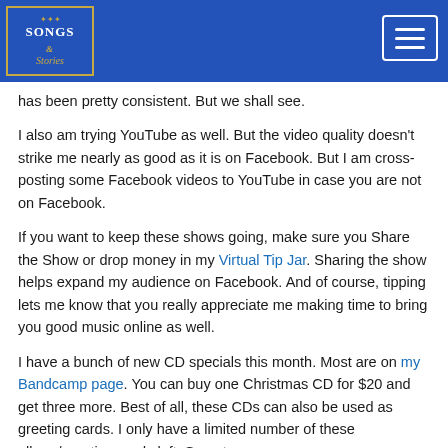Songs & Stories — navigation header with logo and menu button
has been pretty consistent. But we shall see.
I also am trying YouTube as well. But the video quality doesn't strike me nearly as good as it is on Facebook. But I am cross-posting some Facebook videos to YouTube in case you are not on Facebook.
If you want to keep these shows going, make sure you Share the Show or drop money in my Virtual Tip Jar. Sharing the show helps expand my audience on Facebook. And of course, tipping lets me know that you really appreciate me making time to bring you good music online as well.
I have a bunch of new CD specials this month. Most are on my Bandcamp page. You can buy one Christmas CD for $20 and get three more. Best of all, these CDs can also be used as greeting cards. I only have a limited number of these album/greeting cards left. So get yours soon.
I sold my first Celtic Heartstring this week. The Celtic Heartstrings are made from the broken strings of my heart... I mean autoharp. I turn them in Celtic knot jewelry. Each one is